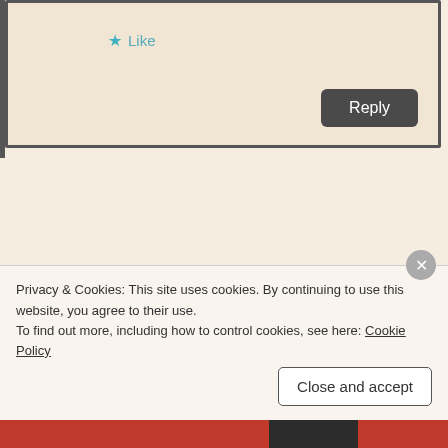[Figure (screenshot): Top section showing a comment reply box with a Like button (star icon) and a dark Reply button]
[Figure (screenshot): Comment card by AntonioWestley, dated July 31, 2014 at 8:21 pm, with avatar photo and comment text beginning 'Wow thank you very much for this post...']
AntonioWestley
July 31, 2014 at 8:21 pm
Wow thank you very much for this post as i am on the verge of completing a novella that will be my first release. Your post however have confirmed my assumptions as it is very
Privacy & Cookies: This site uses cookies. By continuing to use this website, you agree to their use.
To find out more, including how to control cookies, see here: Cookie Policy
Close and accept